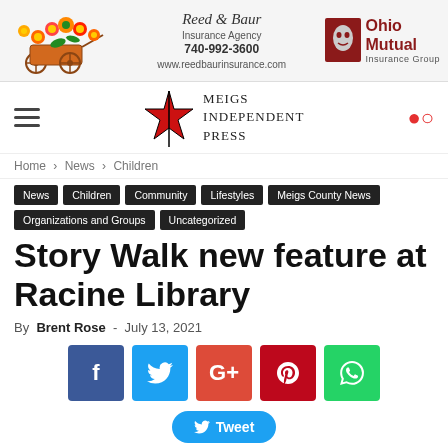[Figure (illustration): Ad banner with Reed & Baur Insurance Agency and Ohio Mutual Insurance Group logos, phone number 740-992-3600 and website www.reedbaurinsurance.com]
[Figure (logo): Meigs Independent Press logo with star graphic and navigation hamburger menu and search icon]
Home > News > Children
News
Children
Community
Lifestyles
Meigs County News
Organizations and Groups
Uncategorized
Story Walk new feature at Racine Library
By Brent Rose - July 13, 2021
[Figure (infographic): Social share buttons: Facebook, Twitter, Google+, Pinterest, WhatsApp and Tweet button]